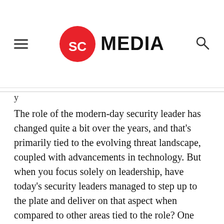SC MEDIA
y
The role of the modern-day security leader has changed quite a bit over the years, and that’s primarily tied to the evolving threat landscape, coupled with advancements in technology. But when you focus solely on leadership, have today’s security leaders managed to step up to the plate and deliver on that aspect when compared to other areas tied to the role? One industry veteran and current infosec leader doesn’t seem to think so.
There are examples of great leadership in security throughout the globe, but for the most part, there’s a lot of work to be done for today’s security leaders to create an “ideal state” for their security departments, and it’s not all on them, according to Malcolm Harkins, chief security and trust